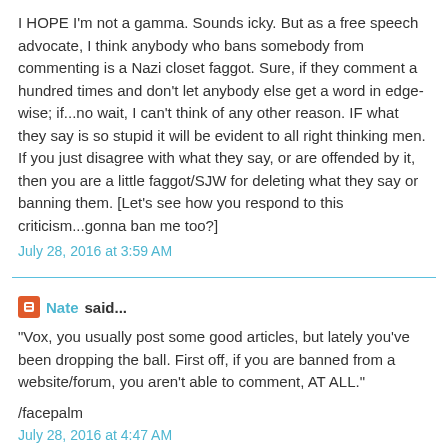I HOPE I'm not a gamma. Sounds icky. But as a free speech advocate, I think anybody who bans somebody from commenting is a Nazi closet faggot. Sure, if they comment a hundred times and don't let anybody else get a word in edge-wise; if...no wait, I can't think of any other reason. IF what they say is so stupid it will be evident to all right thinking men. If you just disagree with what they say, or are offended by it, then you are a little faggot/SJW for deleting what they say or banning them. [Let's see how you respond to this criticism...gonna ban me too?]
July 28, 2016 at 3:59 AM
Nate said...
"Vox, you usually post some good articles, but lately you've been dropping the ball. First off, if you are banned from a website/forum, you aren't able to comment, AT ALL."
/facepalm
July 28, 2016 at 4:47 AM